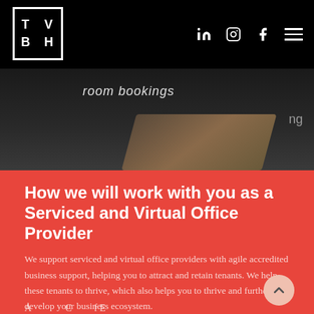TVBH logo with LinkedIn, Instagram, Facebook icons and hamburger menu
[Figure (photo): Dark background photo of an office table surface with text overlay 'room bookings']
How we will work with you as a Serviced and Virtual Office Provider
We support serviced and virtual office providers with agile accredited business support, helping you to attract and retain tenants.  We help these tenants to thrive, which also helps you to thrive and further develop your business ecosystem.